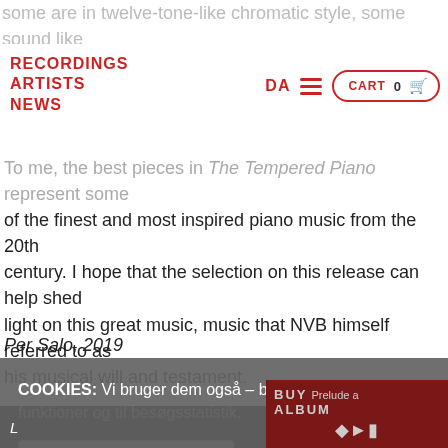some are in twelve-tone-like chromatic style, some sound like jazz, ately free aphorisms.
RECORDINGS ARTISTS NEWS
DA
CART 0
To me, the best pieces in The Tempered Piano represent some of the finest and most inspired piano music from the 20th century. I hope that the selection on this release can help shed light on this great music, music that NVB himself referred to as his musical will and testament.
Per Salo, 2019
COOKIES: Vi bruger dem også – både til webshoppens funktioner og til besøgsstatistik.
Nej, vis mig jeres privatlivspolitik
OK
DECLINE
BUY Prelude a ALBUM